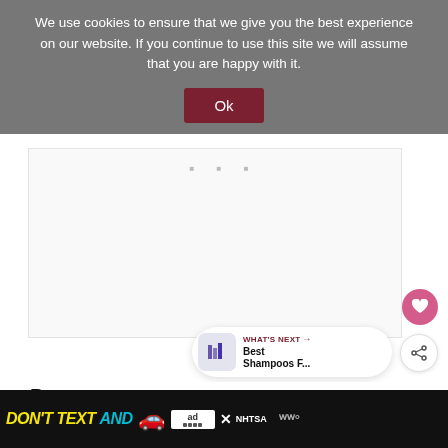We use cookies to ensure that we give you the best experience on our website. If you continue to use this site we will assume that you are happy with it.
Ok
[Figure (screenshot): White content area with three small dots/loading indicator at the top center, a pink heart button and a white share button on the right side, and a 'WHAT'S NEXT' widget showing 'Best Shampoos F...']
Pros
[Figure (screenshot): Ad banner with black background showing 'DON'T TEXT AND' in yellow and cyan bold italic text, a red car emoji, an 'ad' logo box, an X close button, NHTSA text, and 'W°' symbol on the right]